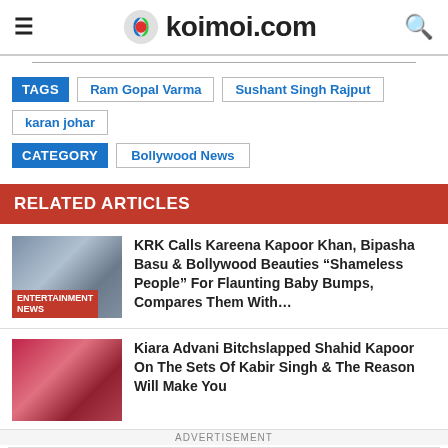koimoi.com
TAGS   Ram Gopal Varma   Sushant Singh Rajput   karan johar
CATEGORY   Bollywood News
RELATED ARTICLES
KRK Calls Kareena Kapoor Khan, Bipasha Basu & Bollywood Beauties “Shameless People” For Flaunting Baby Bumps, Compares Them With…
Kiara Advani Bitchslapped Shahid Kapoor On The Sets Of Kabir Singh & The Reason Will Make You
ADVERTISEMENT BitLife - Life Simulator Install!